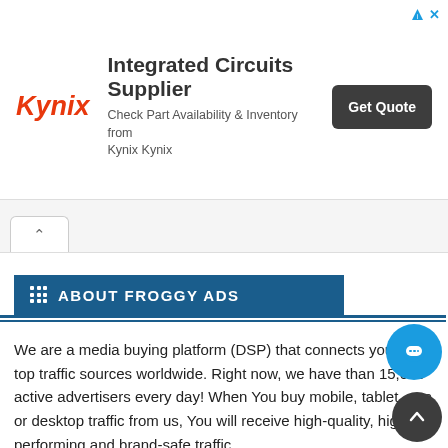[Figure (infographic): Kynix Integrated Circuits Supplier advertisement banner with Kynix logo in red italic, ad title 'Integrated Circuits Supplier', subtitle 'Check Part Availability & Inventory from Kynix Kynix', and a dark 'Get Quote' button]
ABOUT FROGGY ADS
We are a media buying platform (DSP) that connects you to all top traffic sources worldwide. Right now, we have than 15,000 active advertisers every day! When You buy mobile, tablet, app or desktop traffic from us, You will receive high-quality, high-performing and brand-safe traffic.